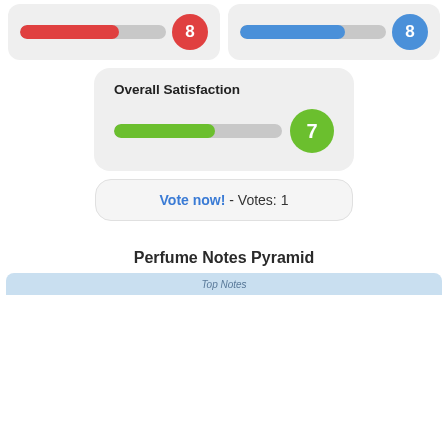[Figure (infographic): Two rating cards side by side: left card shows a red progress bar with badge number 8; right card shows a blue progress bar with badge number 8.]
[Figure (infographic): Overall Satisfaction card with a green progress bar and green circle badge showing 7.]
Vote now! - Votes: 1
Perfume Notes Pyramid
[Figure (infographic): Top of a Perfume Notes Pyramid diagram with a light blue banner.]